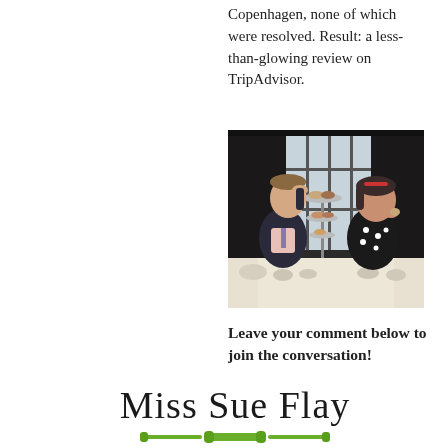Copenhagen, none of which were resolved. Result: a less-than-glowing review on TripAdvisor.
[Figure (photo): A man and a woman sitting at a dining table with afternoon tea stand; the man rests his hand on his head while the woman eats; large window with dark curtains in the background.]
Leave your comment below to join the conversation!
[Figure (logo): Miss Sue Flay handwritten-style logo in dark cursive text with a green rolling pin illustration underline.]